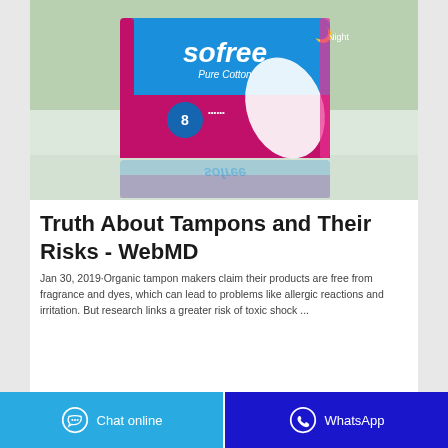[Figure (photo): Product photo of Sofree Pure Cotton sanitary pads package (blue/pink packaging with moon icon, labeled 'Night', showing 8 pads) displayed on a reflective surface with green background.]
Truth About Tampons and Their Risks - WebMD
Jan 30, 2019·Organic tampon makers claim their products are free from fragrance and dyes, which can lead to problems like allergic reactions and irritation. But research links a greater risk of toxic shock ...
Chat online
WhatsApp